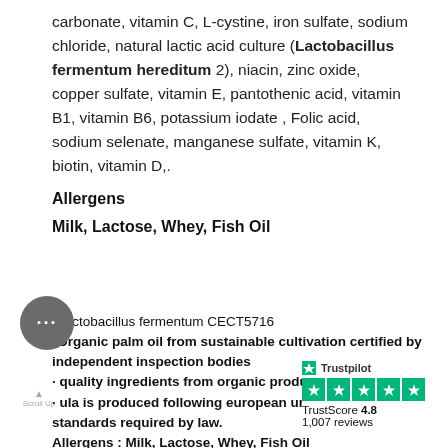carbonate, vitamin C, L-cystine, iron sulfate, sodium chloride, natural lactic acid culture (Lactobacillus fermentum hereditum 2), niacin, zinc oxide, copper sulfate, vitamin E, pantothenic acid, vitamin B1, vitamin B6, potassium iodate , Folic acid, sodium selenate, manganese sulfate, vitamin K, biotin, vitamin D,.
Allergens
Milk, Lactose, Whey, Fish Oil
¹Lactobacillus fermentum CECT5716
*Organic palm oil from sustainable cultivation certified by independent inspection bodies
· quality ingredients from organic production
· ula is produced following european union organic standards required by law.
Allergens : Milk, Lactose, Whey, Fish Oil
[Figure (other): Trustpilot logo and rating widget: TrustScore 4.8, 1,007 reviews, 5 green stars]